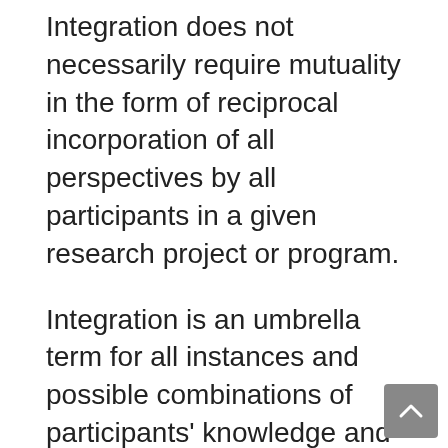Integration does not necessarily require mutuality in the form of reciprocal incorporation of all perspectives by all participants in a given research project or program.
Integration is an umbrella term for all instances and possible combinations of participants' knowledge and information. However, regardless of whether the approach is one-sided or mutual, here too clarity about the kind of integration that is meant and appropriate methods are needed in each case, depending on the particular configuration of goals and needs in a given research project or program as well as the mix of knowledge, information, and forms of expertise brought